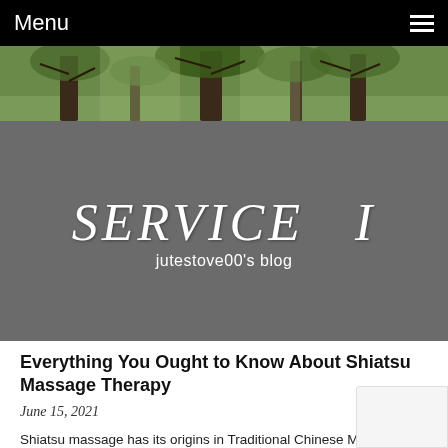Menu
[Figure (photo): Forest of tall trees with green foliage banner image]
SERVICE  I
jutestove00's blog
Everything You Ought to Know About Shiatsu Massage Therapy
June 15, 2021
Shiatsu massage has its origins in Traditional Chinese Me (TCM), but in recent years it's been mostly developed by massage therapists. In Chinese medicine, the notion of m